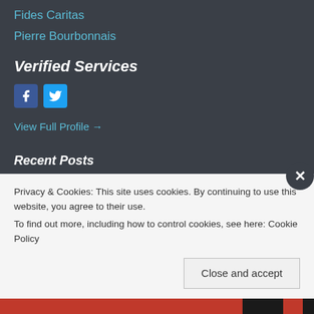Fides Caritas
Pierre Bourbonnais
Verified Services
[Figure (other): Facebook and Twitter social media icon buttons]
View Full Profile →
Recent Posts
Comienza un Año Nuevo
Jan 1, 2017
The Beginning of a New Year
Privacy & Cookies: This site uses cookies. By continuing to use this website, you agree to their use. To find out more, including how to control cookies, see here: Cookie Policy
Close and accept